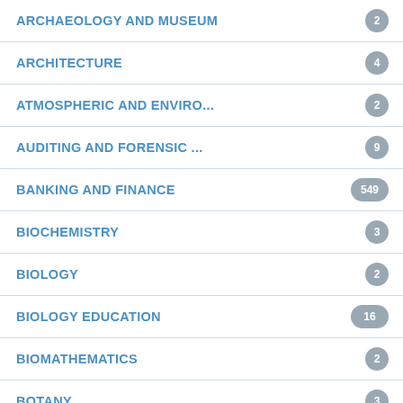ARCHAEOLOGY AND MUSEUM
ARCHITECTURE
ATMOSPHERIC AND ENVIRO...
AUDITING AND FORENSIC ...
BANKING AND FINANCE
BIOCHEMISTRY
BIOLOGY
BIOLOGY EDUCATION
BIOMATHEMATICS
BOTANY
BREWING SCIENCE